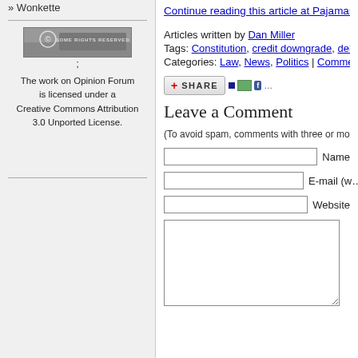» Wonkette
[Figure (logo): Creative Commons 'Some Rights Reserved' badge — grey shield with CC circle icon and text 'SOME RIGHTS RESERVED']
The work on Opinion Forum is licensed under a Creative Commons Attribution 3.0 Unported License.
Continue reading this article at Pajamas Med…
Articles written by Dan Miller
Tags: Constitution, credit downgrade, debt li…
Categories: Law, News, Politics | Comments
[Figure (infographic): Share button bar with plus icon, SHARE text, and social media icons (del.icio.us, digg, facebook)]
Leave a Comment
(To avoid spam, comments with three or more links …
Name [input field]
E-mail (w… [input field]
Website [input field]
[comment textarea]